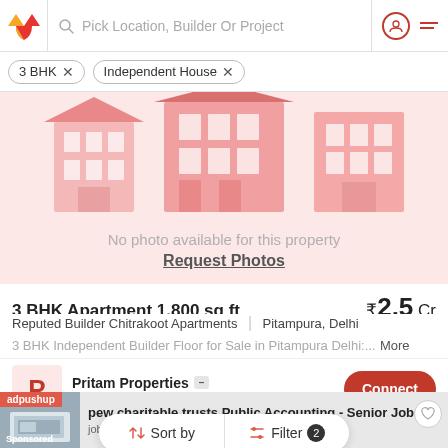Pick Location, Builder Or Project
3 BHK × Independent House ×
[Figure (illustration): No photo available for this property placeholder with building illustration in light red/pink tones. Text: No photo available for this property. Request Photos link.]
3 BHK Apartment 1,800 sq ft ₹2.5 Cr
Reputed Builder Chitrakoot Apartments | Pitampura, Delhi
3 BHK Independent Builder Floor for Sale in Pitampura Delhi:... More
Pritam Properties — AGENT
Sort by | Filter 2
[Figure (screenshot): Ad banner: adpushup label, sponsored image of laptop/accounting, text: pew charitable trusts Public Accounting - Senior Jobs in, jobble.com]